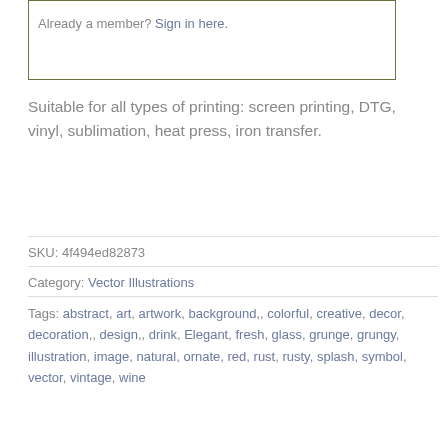Already a member? Sign in here.
Suitable for all types of printing: screen printing, DTG, vinyl, sublimation, heat press, iron transfer.
SKU: 4f494ed82873
Category: Vector Illustrations
Tags: abstract, art, artwork, background,, colorful, creative, decor, decoration,, design,, drink, Elegant, fresh, glass, grunge, grungy, illustration, image, natural, ornate, red, rust, rusty, splash, symbol, vector, vintage, wine